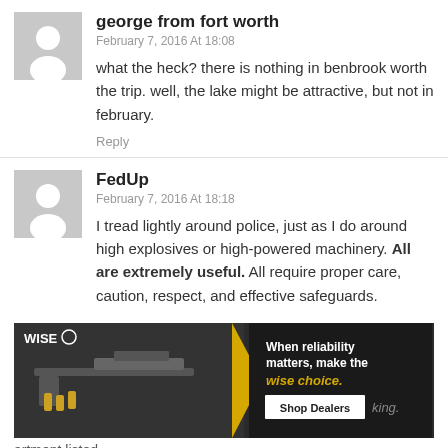george from fort worth
February 7, 2016 At 18:08
what the heck? there is nothing in benbrook worth the trip. well, the lake might be attractive, but not in february.
Reply
FedUp
February 7, 2016 At 18:18
I tread lightly around police, just as I do around high explosives or high-powered machinery. All are extremely useful. All require proper care, caution, respect, and effective safeguards.
[Figure (photo): Advertisement for WISE brand showing firearms/ammunition on dark background with text 'When reliability matters, make the wise choice.' and 'Shop Dealers' button]
artment listed